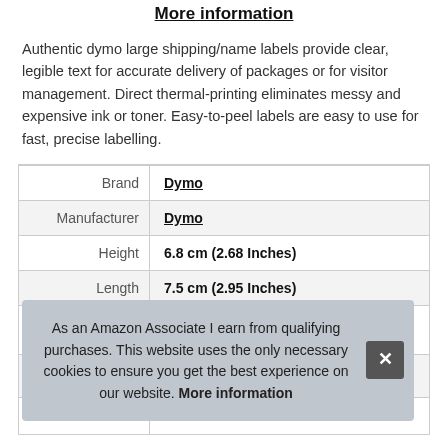More information
Authentic dymo large shipping/name labels provide clear, legible text for accurate delivery of packages or for visitor management. Direct thermal-printing eliminates messy and expensive ink or toner. Easy-to-peel labels are easy to use for fast, precise labelling.
|  |  |
| --- | --- |
| Brand | Dymo |
| Manufacturer | Dymo |
| Height | 6.8 cm (2.68 Inches) |
| Length | 7.5 cm (2.95 Inches) |
As an Amazon Associate I earn from qualifying purchases. This website uses the only necessary cookies to ensure you get the best experience on our website. More information